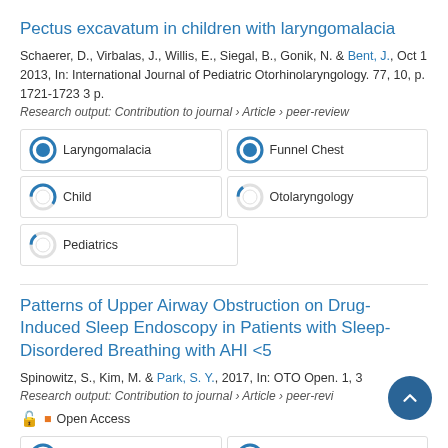Pectus excavatum in children with laryngomalacia
Schaerer, D., Virbalas, J., Willis, E., Siegal, B., Gonik, N. & Bent, J., Oct 1 2013, In: International Journal of Pediatric Otorhinolaryngology. 77, 10, p. 1721-1723 3 p.
Research output: Contribution to journal › Article › peer-review
[Figure (infographic): Four keyword badges: Laryngomalacia (100%), Funnel Chest (100%), Child (~60%), Otolaryngology (~15%)]
[Figure (infographic): One keyword badge: Pediatrics (~15%)]
Patterns of Upper Airway Obstruction on Drug-Induced Sleep Endoscopy in Patients with Sleep-Disordered Breathing with AHI <5
Spinowitz, S., Kim, M. & Park, S. Y., 2017, In: OTO Open. 1, 3
Research output: Contribution to journal › Article › peer-review
Open Access
[Figure (infographic): Two keyword badges: Sleep Apnea Syndromes (100%), Airway Obstruction (100%)]